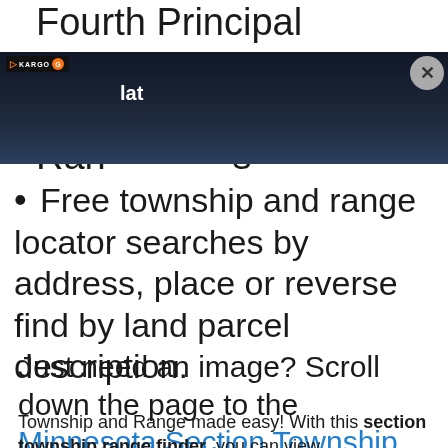Fourth Principal Meridian, Minnesota Section Township Range Maps
[Figure (screenshot): Ad overlay banner (Kargo ad) with dark background showing 'lat' text and a close button X on the right]
Free township and range locator searches by address, place or reverse find by land parcel description.
Just need an image? Scroll down the page to the Minnesota Section Township Range Map Image
Township and Range made easy! With this section township range finder, you can view